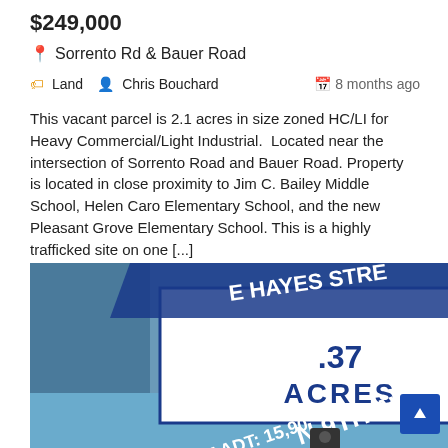$249,000
Sorrento Rd & Bauer Road
Land   Chris Bouchard   8 months ago
This vacant parcel is 2.1 acres in size zoned HC/LI for Heavy Commercial/Light Industrial.  Located near the intersection of Sorrento Road and Bauer Road. Property is located in close proximity to Jim C. Bailey Middle School, Helen Caro Elementary School, and the new Pleasant Grove Elementary School. This is a highly trafficked site on one [...]
[Figure (photo): Aerial map view of a land parcel at the intersection of E Hayes Street and N 9th Avenue showing a .37 acres parcel outlined with AADT: 15,900 labeled on N 9th Avenue]